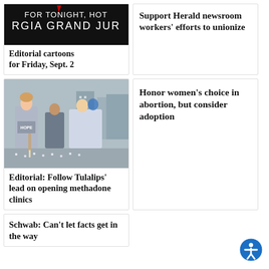[Figure (photo): Editorial cartoon image with text 'GEORGIA GRAND JURY' visible]
Editorial cartoons for Friday, Sept. 2
Support Herald newsroom workers' efforts to unionize
[Figure (photo): People at a candlelight vigil; woman in foreground wearing 'HOPE' sweatshirt]
Editorial: Follow Tulalips' lead on opening methadone clinics
Honor women's choice in abortion, but consider adoption
Schwab: Can't let facts get in the way
[Figure (illustration): Accessibility icon button (blue circle with person symbol)]